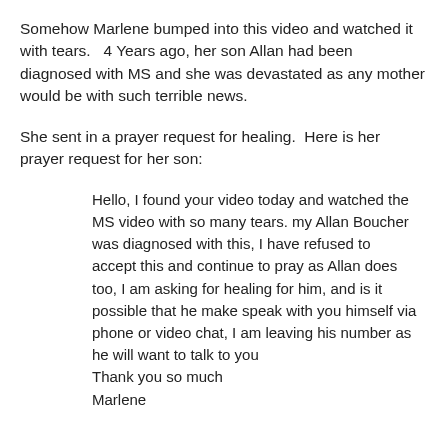Somehow Marlene bumped into this video and watched it with tears.   4 Years ago, her son Allan had been diagnosed with MS and she was devastated as any mother would be with such terrible news.
She sent in a prayer request for healing.  Here is her prayer request for her son:
Hello, I found your video today and watched the MS video with so many tears. my Allan Boucher was diagnosed with this, I have refused to accept this and continue to pray as Allan does too, I am asking for healing for him, and is it possible that he make speak with you himself via phone or video chat, I am leaving his number as he will want to talk to you
Thank you so much
Marlene